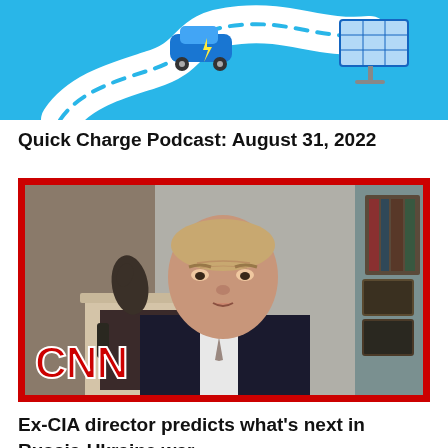[Figure (illustration): Blue banner illustration at top showing an electric vehicle on a winding road with solar panels, on a light blue background]
Quick Charge Podcast: August 31, 2022
[Figure (screenshot): CNN video screenshot with red border showing a man in a dark suit seated in a home office. A bronze horse statue and fireplace mantel visible in background. CNN logo in red with white outline in lower left corner.]
Ex-CIA director predicts what’s next in Russia-Ukraine war